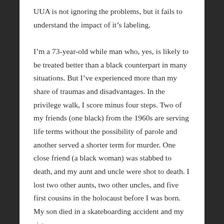UUA is not ignoring the problems, but it fails to understand the impact of it's labeling.

I'm a 73-year-old while man who, yes, is likely to be treated better than a black counterpart in many situations. But I've experienced more than my share of traumas and disadvantages. In the privilege walk, I score minus four steps. Two of my friends (one black) from the 1960s are serving life terms without the possibility of parole and another served a shorter term for murder. One close friend (a black woman) was stabbed to death, and my aunt and uncle were shot to death. I lost two other aunts, two other uncles, and five first cousins in the holocaust before I was born. My son died in a skateboarding accident and my sister